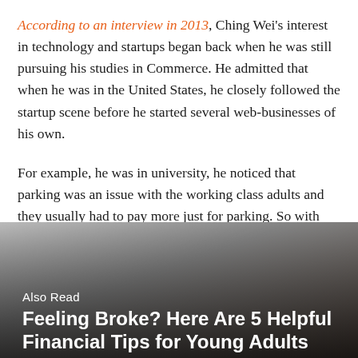According to an interview in 2013, Ching Wei's interest in technology and startups began back when he was still pursuing his studies in Commerce. He admitted that when he was in the United States, he closely followed the startup scene before he started several web-businesses of his own.
For example, he was in university, he noticed that parking was an issue with the working class adults and they usually had to pay more just for parking. So with that problem in mind, he went on to create a parking rental service. How's that for problem-solving skills?
[Figure (photo): A hand pressing keys on a keyboard, shown in close-up with shallow depth of field, overlaid with text 'Also Read' and 'Feeling Broke? Here Are 5 Helpful Financial Tips for Young Adults']
Also Read
Feeling Broke? Here Are 5 Helpful Financial Tips for Young Adults